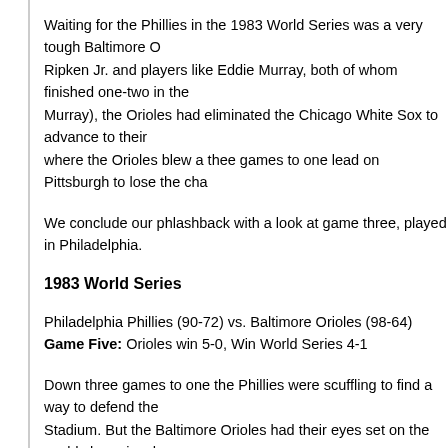Waiting for the Phillies in the 1983 World Series was a very tough Baltimore O... Ripken Jr. and players like Eddie Murray, both of whom finished one-two in the... Murray), the Orioles had eliminated the Chicago White Sox to advance to their... where the Orioles blew a thee games to one lead on Pittsburgh to lose the cha...
We conclude our phlashback with a look at game three, played in Philadelphia.
1983 World Series
Philadelphia Phillies (90-72) vs. Baltimore Orioles (98-64)
Game Five: Orioles win 5-0, Win World Series 4-1
Down three games to one the Phillies were scuffling to find a way to defend the... Stadium. But the Baltimore Orioles had their eyes set on the world championsh...
Looking to hold off elimination and send the World Series back to Baltimore, the... starting pitcher Charles Hudson. While the pitching staff of the National League... job in shutting down the heavy hitters on Baltimore, game five was a different s...
Entering game five having gone 2-for-16, Orioles first baseman Eddie Murray le... solo home run. The solo shot to right field would wind up being the game winni... run as the Phillies failed to score in the deciding game. Murray's home run was... the night.
Rick Dempsey increased the lead to 2-0 with a lead off home run in the third in... two run home run in the fourth inning, following a walk to Cal Ripken Jr. Baltim...